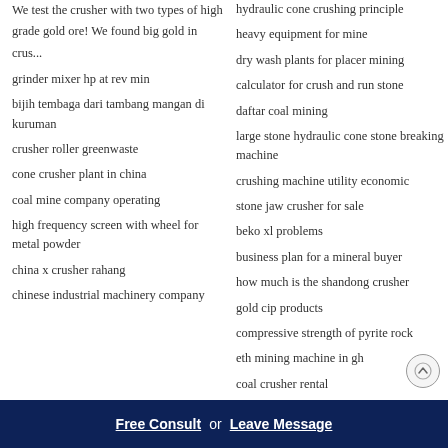We test the crusher with two types of high grade gold ore! We found big gold in crus...
grinder mixer hp at rev min
bijih tembaga dari tambang mangan di kuruman
crusher roller greenwaste
cone crusher plant in china
coal mine company operating
high frequency screen with wheel for metal powder
china x crusher rahang
chinese industrial machinery company
hydraulic cone crushing principle
heavy equipment for mine
dry wash plants for placer mining
calculator for crush and run stone
daftar coal mining
large stone hydraulic cone stone breaking machine
crushing machine utility economic
stone jaw crusher for sale
beko xl problems
business plan for a mineral buyer
how much is the shandong crusher
gold cip products
compressive strength of pyrite rock
eth mining machine in gh
coal crusher rental
Free Consult or Leave Message